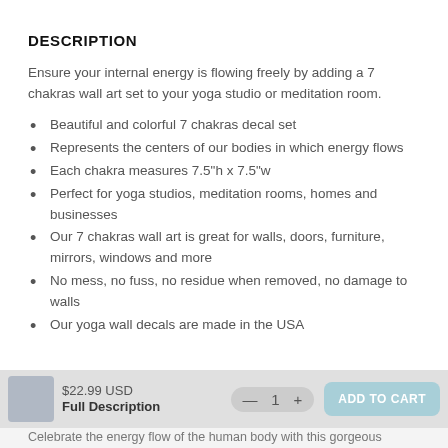DESCRIPTION
Ensure your internal energy is flowing freely by adding a 7 chakras wall art set to your yoga studio or meditation room.
Beautiful and colorful 7 chakras decal set
Represents the centers of our bodies in which energy flows
Each chakra measures 7.5"h x 7.5"w
Perfect for yoga studios, meditation rooms, homes and businesses
Our 7 chakras wall art is great for walls, doors, furniture, mirrors, windows and more
No mess, no fuss, no residue when removed, no damage to walls
Our yoga wall decals are made in the USA
$22.99 USD  Full Description  — 1 +  ADD TO CART
Celebrate the energy flow of the human body with this gorgeous